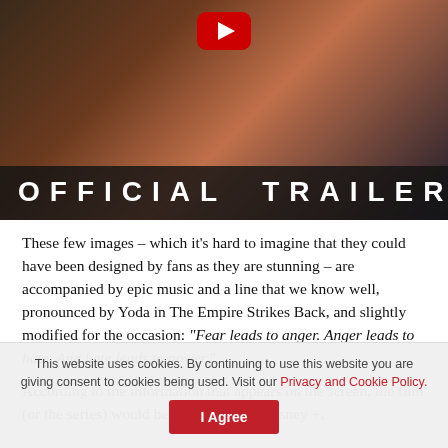[Figure (screenshot): YouTube video thumbnail showing 'OFFICIAL TRAILER' text over a dark cinematic background with warm orange/brown tones and a YouTube play button icon at the top center.]
These few images – which it's hard to imagine that they could have been designed by fans as they are stunning – are accompanied by epic music and a line that we know well, pronounced by Yoda in The Empire Strikes Back, and slightly modified for the occasion: "Fear leads to anger. Anger leads to hate. And hate leads to power."
According to the information that appears on the screen, the film (or the series) would be to discover on Disney +,
This website uses cookies. By continuing to use this website you are giving consent to cookies being used. Visit our Privacy and Cookie Policy.